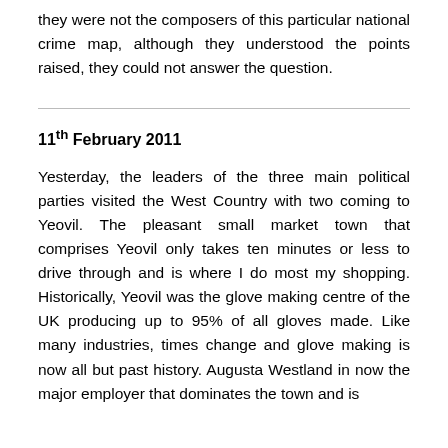they were not the composers of this particular national crime map, although they understood the points raised, they could not answer the question.
11th February 2011
Yesterday, the leaders of the three main political parties visited the West Country with two coming to Yeovil. The pleasant small market town that comprises Yeovil only takes ten minutes or less to drive through and is where I do most my shopping. Historically, Yeovil was the glove making centre of the UK producing up to 95% of all gloves made. Like many industries, times change and glove making is now all but past history. Augusta Westland in now the major employer that dominates the town and is